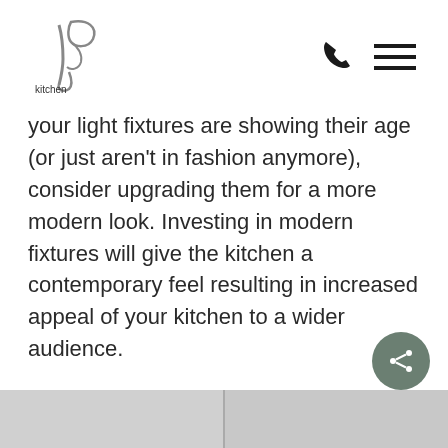[Figure (logo): Kitchen Craftsman logo with stylized fork/spoon icon in grey and chartreuse green text]
[Figure (infographic): Phone icon and hamburger menu icon in top right navigation]
your light fixtures are showing their age (or just aren't in fashion anymore), consider upgrading them for a more modern look. Investing in modern fixtures will give the kitchen a contemporary feel resulting in increased appeal of your kitchen to a wider audience.
[Figure (infographic): Share button circle icon with share/network symbol in grey-green]
[Figure (photo): Bottom partial image showing kitchen cabinets in grey/light tones, split into two panels]